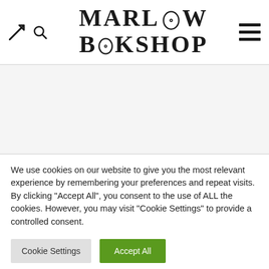[Figure (logo): Marlow Bookshop logo with stylized text showing MARLOW on top line and BOOKSHOP on bottom line, with decorative circular elements in the letters O]
We use cookies on our website to give you the most relevant experience by remembering your preferences and repeat visits. By clicking "Accept All", you consent to the use of ALL the cookies. However, you may visit "Cookie Settings" to provide a controlled consent.
Cookie Settings
Accept All